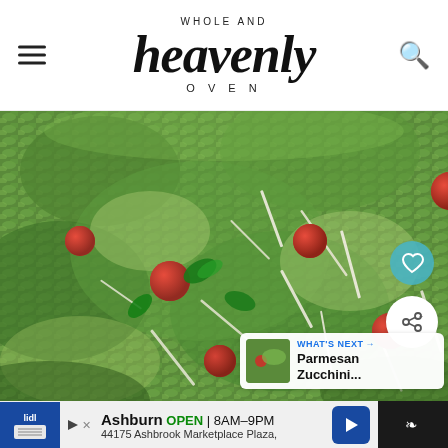WHOLE AND heavenly OVEN
[Figure (photo): Close-up photo of pesto rice dish with cherry tomatoes, shredded parmesan cheese, and fresh basil leaves in a green pesto sauce]
WHAT'S NEXT → Parmesan Zucchini...
Ashburn OPEN 8AM–9PM 44175 Ashbrook Marketplace Plaza,